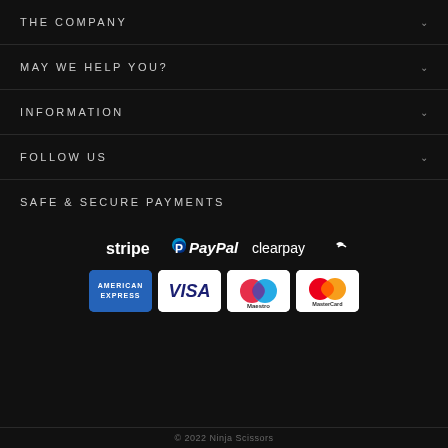THE COMPANY
MAY WE HELP YOU?
INFORMATION
FOLLOW US
SAFE & SECURE PAYMENTS
[Figure (logo): Payment logos: Stripe, PayPal, Clearpay, American Express, Visa, Maestro, MasterCard]
© 2022 Ninja Scissors